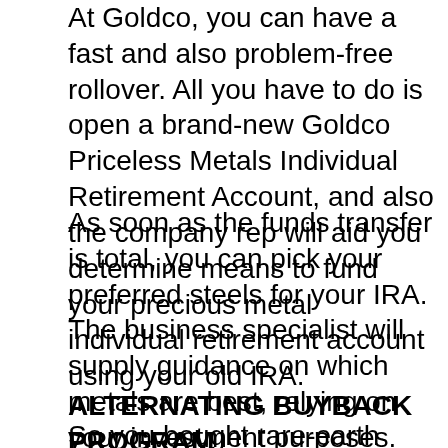At Goldco, you can have a fast and also problem-free rollover. All you have to do is open a brand-new Goldco Priceless Metals Individual Retirement Account, and also the company rep will aid you determine means to fund your precious metal individual retirement account using your old IRA.
As soon as the funds transfer is total, you can pick your preferred steels for your IRA. The business specialist will supply guidance on which metals are best, relying on your investment purposes. The smooth as well as easy rollover process at Goldco can use up to 10 working days.
ALTERNATING BUYBACK PROGRAM
So you bought rare-earth elements for some